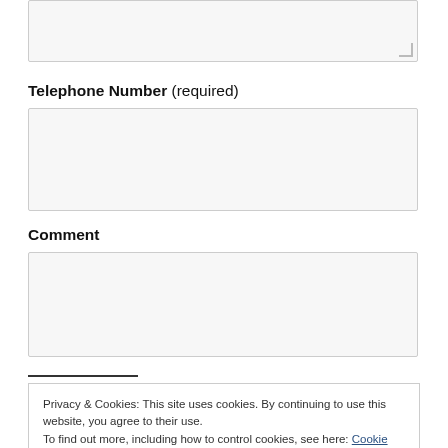[Figure (screenshot): Partial text input area at top of page, clipped]
Telephone Number (required)
[Figure (screenshot): Empty text input field for telephone number]
Comment
[Figure (screenshot): Empty text input field for comment]
Privacy & Cookies: This site uses cookies. By continuing to use this website, you agree to their use.
To find out more, including how to control cookies, see here: Cookie Policy